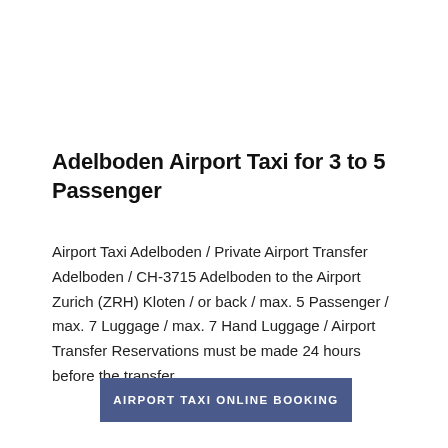Adelboden Airport Taxi for 3 to 5 Passenger
Airport Taxi Adelboden / Private Airport Transfer Adelboden / CH-3715 Adelboden to the Airport Zurich (ZRH) Kloten / or back / max. 5 Passenger / max. 7 Luggage / max. 7 Hand Luggage / Airport Transfer Reservations must be made 24 hours before the transfer.
AIRPORT TAXI ONLINE BOOKING